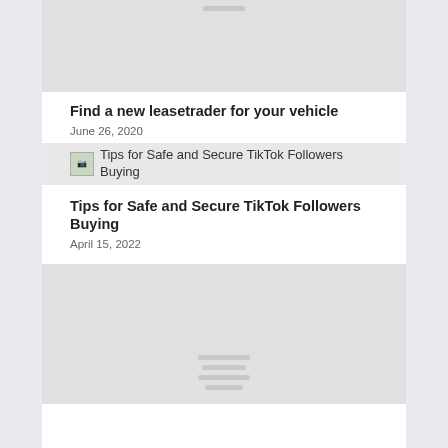[Figure (photo): Gray placeholder image at top]
Find a new leasetrader for your vehicle
June 26, 2020
[Figure (photo): Thumbnail image with TikTok article preview]
Tips for Safe and Secure TikTok Followers Buying
April 15, 2022
[Figure (photo): Gray placeholder image at bottom with stacked lines icon]